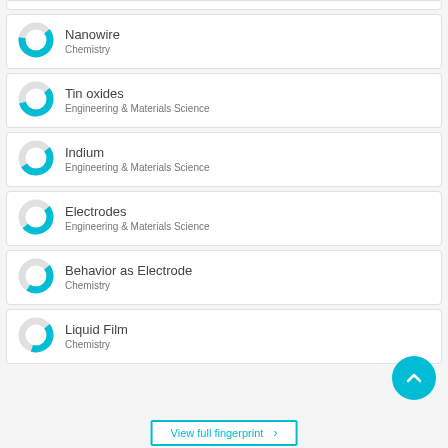Nanowire
Chemistry
Tin oxides
Engineering & Materials Science
Indium
Engineering & Materials Science
Electrodes
Engineering & Materials Science
Behavior as Electrode
Chemistry
Liquid Film
Chemistry
View full fingerprint >